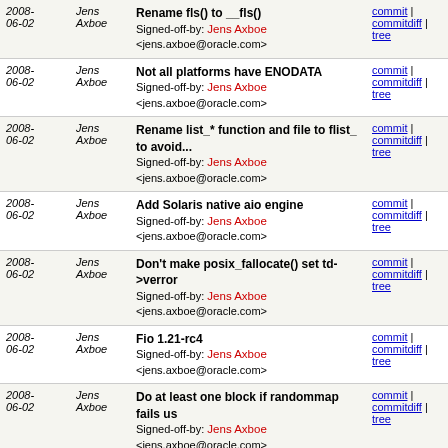| Date | Author | Commit message | Links |
| --- | --- | --- | --- |
| 2008-06-02 | Jens Axboe | Rename fls() to __fls()
Signed-off-by: Jens Axboe <jens.axboe@oracle.com> | commit | commitdiff | tree |
| 2008-06-02 | Jens Axboe | Not all platforms have ENODATA
Signed-off-by: Jens Axboe <jens.axboe@oracle.com> | commit | commitdiff | tree |
| 2008-06-02 | Jens Axboe | Rename list_* function and file to flist_ to avoid...
Signed-off-by: Jens Axboe <jens.axboe@oracle.com> | commit | commitdiff | tree |
| 2008-06-02 | Jens Axboe | Add Solaris native aio engine
Signed-off-by: Jens Axboe <jens.axboe@oracle.com> | commit | commitdiff | tree |
| 2008-06-02 | Jens Axboe | Don't make posix_fallocate() set td->verror
Signed-off-by: Jens Axboe <jens.axboe@oracle.com> | commit | commitdiff | tree |
| 2008-06-02 | Jens Axboe | Fio 1.21-rc4
Signed-off-by: Jens Axboe <jens.axboe@oracle.com> | commit | commitdiff | tree |
| 2008-06-02 | Jens Axboe | Do at least one block if randommap fails us
Signed-off-by: Jens Axboe <jens.axboe@oracle.com> | commit | commitdiff | tree |
| 2008-06-02 | Jens Axboe | Inc block in mark_random_map()
Signed-off-by: Jens Axboe <jens.axboe@oracle.com> | commit | commitdiff | tree |
| 2008- | Jens | smalloc: use optimized ffz() | commit | |